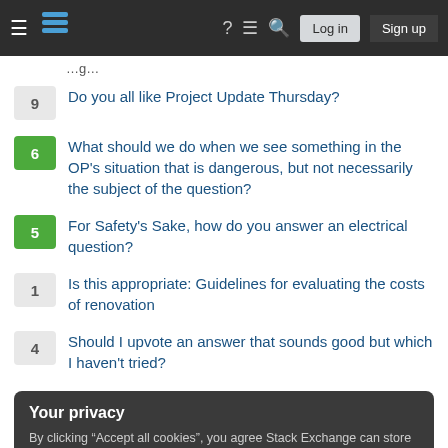Stack Exchange navigation bar with hamburger menu, logo, help, chat, search, Log in, Sign up
9 — Do you all like Project Update Thursday?
6 — What should we do when we see something in the OP's situation that is dangerous, but not necessarily the subject of the question?
5 — For Safety's Sake, how do you answer an electrical question?
1 — Is this appropriate: Guidelines for evaluating the costs of renovation
4 — Should I upvote an answer that sounds good but which I haven't tried?
Your privacy
By clicking "Accept all cookies", you agree Stack Exchange can store cookies on your device and disclose information in accordance with our Cookie Policy.
Accept all cookies | Customize settings